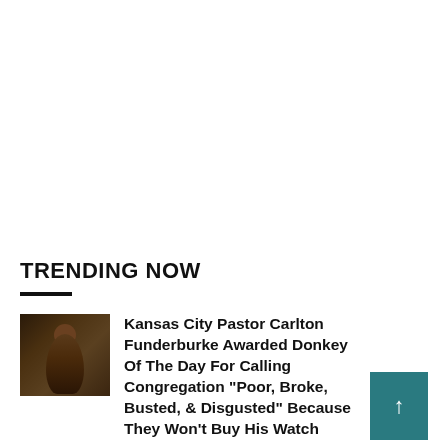TRENDING NOW
[Figure (photo): Thumbnail image of a man, likely a pastor, in a dark setting]
Kansas City Pastor Carlton Funderburke Awarded Donkey Of The Day For Calling Congregation "Poor, Broke, Busted, & Disgusted" Because They Won't Buy His Watch